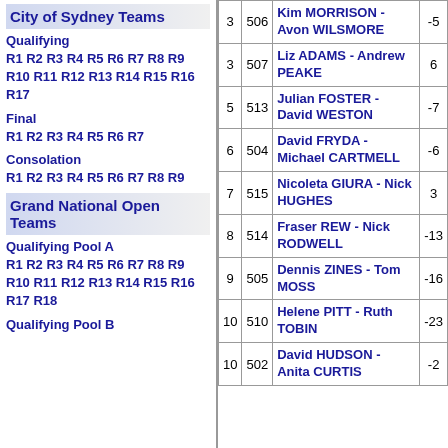City of Sydney Teams
Qualifying
R1 R2 R3 R4 R5 R6 R7 R8 R9 R10 R11 R12 R13 R14 R15 R16 R17
Final
R1 R2 R3 R4 R5 R6 R7
Consolation
R1 R2 R3 R4 R5 R6 R7 R8 R9
Grand National Open Teams
Qualifying Pool A
R1 R2 R3 R4 R5 R6 R7 R8 R9 R10 R11 R12 R13 R14 R15 R16 R17 R18
Qualifying Pool B
|  |  | Name | Score |
| --- | --- | --- | --- |
| 3 | 506 | Kim MORRISON - Avon WILSMORE | -5 |
| 3 | 507 | Liz ADAMS - Andrew PEAKE | 6 |
| 5 | 513 | Julian FOSTER - David WESTON | -7 |
| 6 | 504 | David FRYDA - Michael CARTMELL | -6 |
| 7 | 515 | Nicoleta GIURA - Nick HUGHES | 3 |
| 8 | 514 | Fraser REW - Nick RODWELL | -13 |
| 9 | 505 | Dennis ZINES - Tom MOSS | -16 |
| 10 | 510 | Helene PITT - Ruth TOBIN | -23 |
| 10 | 502 | David HUDSON - Anita CURTIS | -2 |